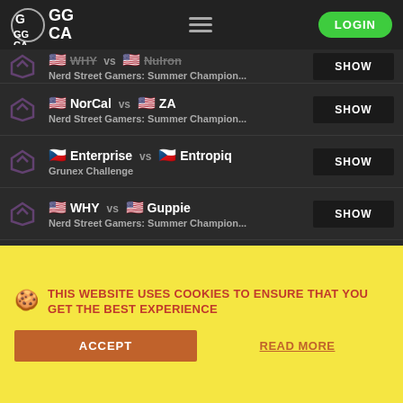GG / CA [logo] LOGIN
WHY vs Nulron — Nerd Street Gamers: Summer Champion... SHOW
NorCal vs ZA — Nerd Street Gamers: Summer Champion... SHOW
Enterprise vs Entropiq — Grunex Challenge SHOW
WHY vs Guppie — Nerd Street Gamers: Summer Champion... SHOW
I.C.U.P vs JEFF — Nerd Street Gamers: Summer Champion... SHOW
ATLETEC vs ZER — SHOW
THIS WEBSITE USES COOKIES TO ENSURE THAT YOU GET THE BEST EXPERIENCE
ACCEPT
READ MORE